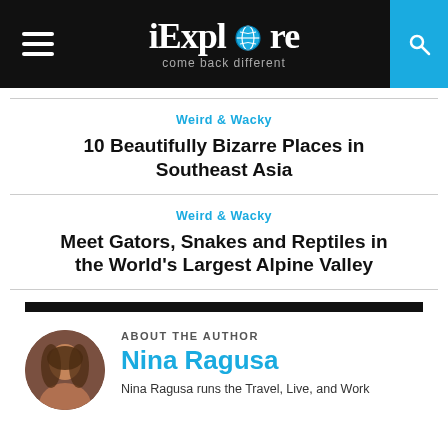iExplore — come back different
Weird & Wacky
10 Beautifully Bizarre Places in Southeast Asia
Weird & Wacky
Meet Gators, Snakes and Reptiles in the World's Largest Alpine Valley
ABOUT THE AUTHOR
Nina Ragusa
Nina Ragusa runs the Travel, Live, and Work